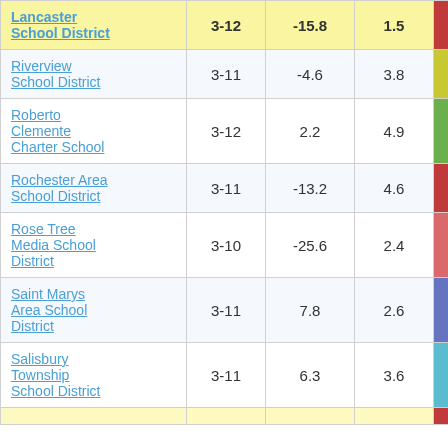| School District | Grades | Col3 | Col4 | Score |  |
| --- | --- | --- | --- | --- | --- |
| Lancaster School District | 3-12 | -15.8 | 1.5 | -10.90 |  |
| Riverview School District | 3-11 | -4.6 | 3.8 | -1.20 |  |
| Roberto Clemente Charter School | 3-12 | 2.2 | 4.9 | 0.45 |  |
| Rochester Area School District | 3-11 | -13.2 | 4.6 | -2.89 |  |
| Rose Tree Media School District | 3-10 | -25.6 | 2.4 | -10.76 |  |
| Saint Marys Area School District | 3-11 | 7.8 | 2.6 | 3.04 |  |
| Salisbury Township School District | 3-11 | 6.3 | 3.6 | 1.77 |  |